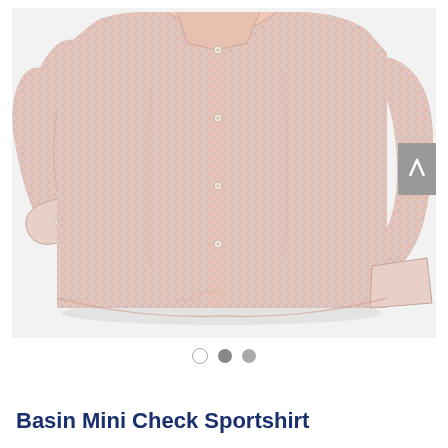[Figure (photo): A pink and blue plaid/check long-sleeve button-up sport shirt laid flat on a white background. The shirt is unfolded showing the front with buttons visible down the center placket. The left sleeve is extended outward to the left. A scroll-to-top button (gray square with white chevron) is visible on the far right edge.]
Basin Mini Check Sportshirt